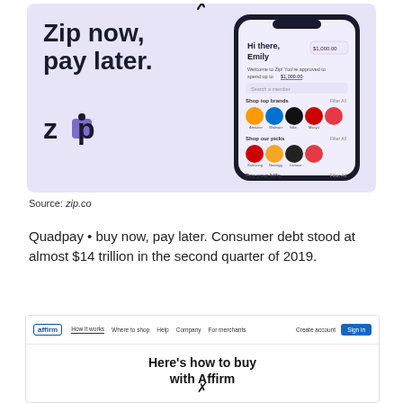[Figure (screenshot): Zip 'buy now pay later' advertisement banner with purple/lavender background. Left side shows bold text 'Zip now, pay later.' with the Zip logo below. Right side shows a smartphone mockup displaying the Zip app interface with 'Hi there, Emily' greeting, shopping categories and brand logos.]
Source: zip.co
Quadpay • buy now, pay later. Consumer debt stood at almost $14 trillion in the second quarter of 2019.
[Figure (screenshot): Affirm website screenshot showing navigation bar with Affirm logo, nav links (How it works, Where to shop, Help, Company, For merchants), Create account link, and blue Sign in button. Below navigation shows 'Here's how to buy with Affirm' heading with a close button circle at bottom.]